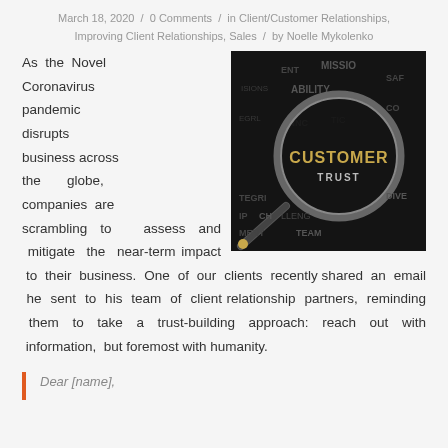March 18, 2020 / 0 Comments / in Client/Customer Relationships, Improving Client Relationships, Sales / by Noelle Mykolenko
[Figure (photo): A magnifying glass focusing on the word CUSTOMER on a dark background with other business-related words like TRUST, INTEGRITY, MISSION, ABILITY, CHALLENGE, TEAM visible around it.]
As the Novel Coronavirus pandemic disrupts business across the globe, companies are scrambling to assess and mitigate the near-term impact to their business. One of our clients recently shared an email he sent to his team of client relationship partners, reminding them to take a trust-building approach: reach out with information, but foremost with humanity.
Dear [name],